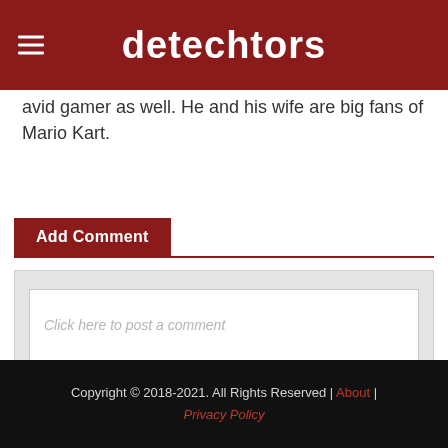detechtors
avid gamer as well. He and his wife are big fans of Mario Kart.
Add Comment
Click here to post a comment
Copyright © 2018-2021. All Rights Reserved | About | Privacy Policy